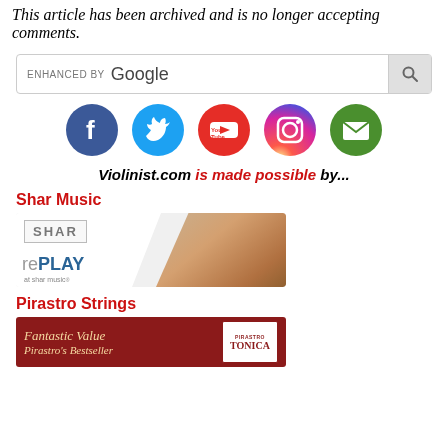This article has been archived and is no longer accepting comments.
[Figure (screenshot): ENHANCED BY Google search bar with search button]
[Figure (infographic): Social media icons row: Facebook, Twitter, YouTube, Instagram, Email]
Violinist.com is made possible by...
Shar Music
[Figure (photo): Shar Music rePLAY advertisement showing child playing violin]
Pirastro Strings
[Figure (photo): Pirastro Strings advertisement showing Tonica strings - Fantastic Value, Pirastro's Bestseller]